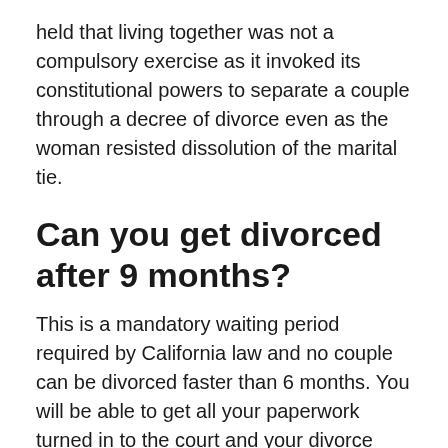held that living together was not a compulsory exercise as it invoked its constitutional powers to separate a couple through a decree of divorce even as the woman resisted dissolution of the marital tie.
Can you get divorced after 9 months?
This is a mandatory waiting period required by California law and no couple can be divorced faster than 6 months. You will be able to get all your paperwork turned in to the court and your divorce judgment approved, but the divorce itself will not be final until at least 6 months after starting the case.